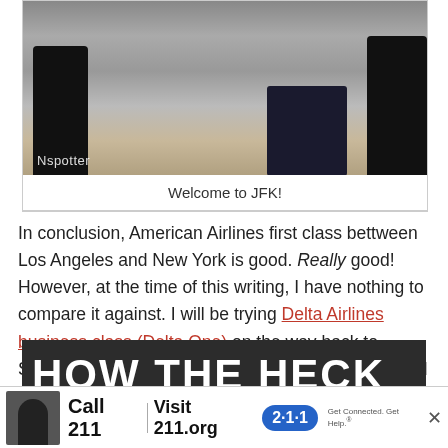[Figure (photo): Airport terminal interior with people walking, dark silhouettes, watermark reading 'Nspotter']
Welcome to JFK!
In conclusion, American Airlines first class bettween Los Angeles and New York is good. Really good! However, at the time of this writing, I have nothing to compare it against. I will be trying Delta Airlines business class (Delta One) on the way back to Southern California though, so that should be a good way to pit this product against another.
[Figure (screenshot): Dark banner section with large white bold text partially visible reading 'HOW THE HECK AM']
[Figure (infographic): Advertisement banner: photo of person, 'Call 211 | Visit 211.org' with blue 2-1-1 badge and tagline 'Get Connected. Get Help.' and close button X]